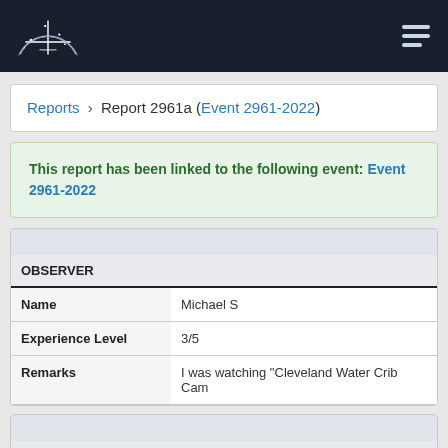AMS logo and navigation menu
Reports > Report 2961a (Event 2961-2022)
This report has been linked to the following event: Event 2961-2022
| OBSERVER |  |
| --- | --- |
| Name | Michael S |
| Experience Level | 3/5 |
| Remarks | I was watching "Cleveland Water Crib Cam |
| LOCATION |  |
| --- | --- |
| Address | Cleveland, OH |